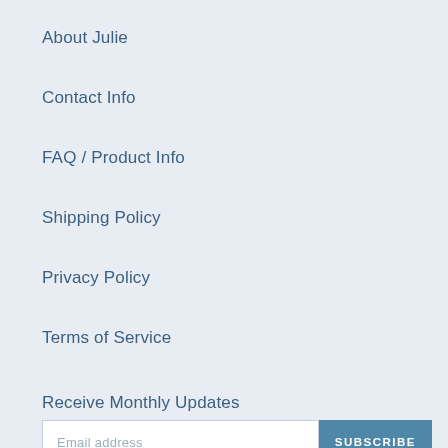About Julie
Contact Info
FAQ / Product Info
Shipping Policy
Privacy Policy
Terms of Service
Receive Monthly Updates
Email address / SUBSCRIBE